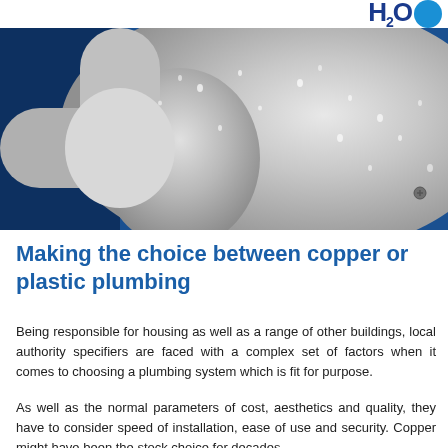H2O (logo)
[Figure (photo): Close-up photograph of a white plastic plumbing pipe elbow joint with water droplets condensed on its surface, against a blue background]
Making the choice between copper or plastic plumbing
Being responsible for housing as well as a range of other buildings, local authority specifiers are faced with a complex set of factors when it comes to choosing a plumbing system which is fit for purpose.
As well as the normal parameters of cost, aesthetics and quality, they have to consider speed of installation, ease of use and security. Copper might have been the stock choice for decades,